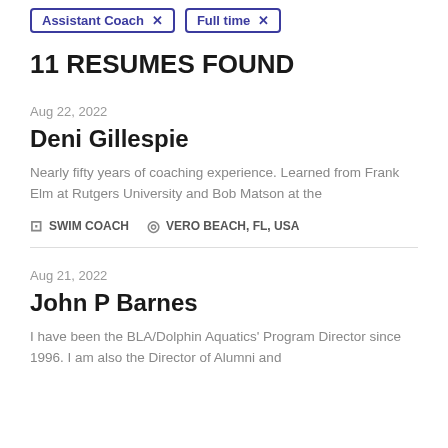Assistant Coach ×
Full time ×
11 RESUMES FOUND
Aug 22, 2022
Deni Gillespie
Nearly fifty years of coaching experience. Learned from Frank Elm at Rutgers University and Bob Matson at the
SWIM COACH   VERO BEACH, FL, USA
Aug 21, 2022
John P Barnes
I have been the BLA/Dolphin Aquatics' Program Director since 1996. I am also the Director of Alumni and